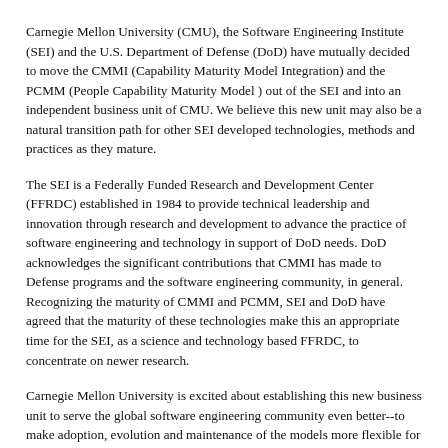Carnegie Mellon University (CMU), the Software Engineering Institute (SEI) and the U.S. Department of Defense (DoD) have mutually decided to move the CMMI (Capability Maturity Model Integration) and the PCMM (People Capability Maturity Model ) out of the SEI and into an independent business unit of CMU. We believe this new unit may also be a natural transition path for other SEI developed technologies, methods and practices as they mature.
The SEI is a Federally Funded Research and Development Center (FFRDC) established in 1984 to provide technical leadership and innovation through research and development to advance the practice of software engineering and technology in support of DoD needs. DoD acknowledges the significant contributions that CMMI has made to Defense programs and the software engineering community, in general. Recognizing the maturity of CMMI and PCMM, SEI and DoD have agreed that the maturity of these technologies make this an appropriate time for the SEI, as a science and technology based FFRDC, to concentrate on newer research.
Carnegie Mellon University is excited about establishing this new business unit to serve the global software engineering community even better--to make adoption, evolution and maintenance of the models more flexible for government and commercial organizations, to be more...